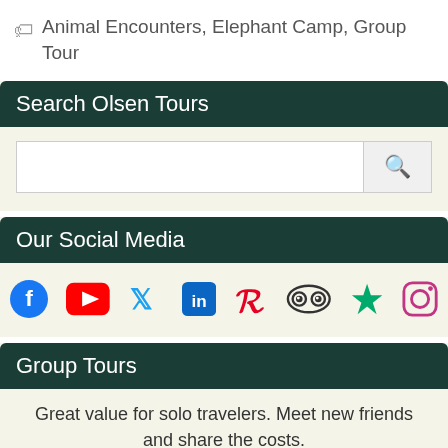Animal Encounters, Elephant Camp, Group Tour
Search Olsen Tours
[Figure (other): Search input box with search icon button]
Our Social Media
[Figure (infographic): Social media icons: Facebook, YouTube, Twitter, LinkedIn, Pinterest, TripAdvisor, Greenstar, Instagram]
Group Tours
Great value for solo travelers. Meet new friends and share the costs.